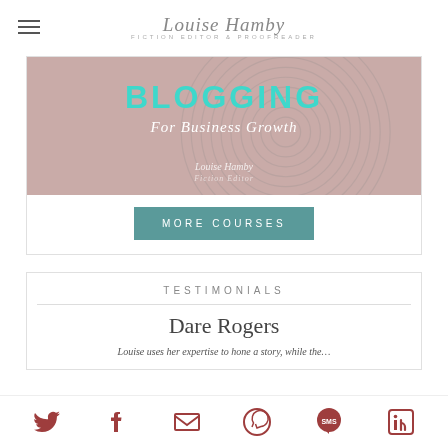Louise Hamby — Fiction editor & proofreader
[Figure (illustration): Blogging For Business Growth course banner with teal text on mauve/rose background with fingerprint spiral pattern, Louise Hamby branding]
MORE COURSES
TESTIMONIALS
Dare Rogers
Louise uses her expertise to hone a story, while the...